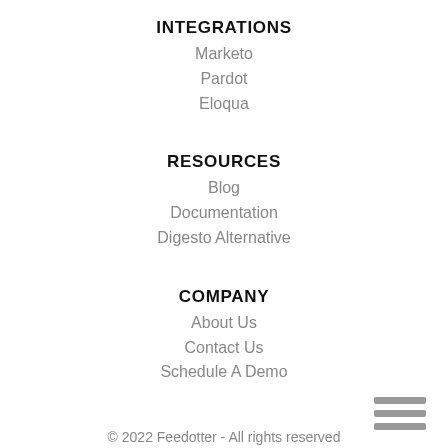INTEGRATIONS
Marketo
Pardot
Eloqua
RESOURCES
Blog
Documentation
Digesto Alternative
COMPANY
About Us
Contact Us
Schedule A Demo
© 2022 Feedotter - All rights reserved